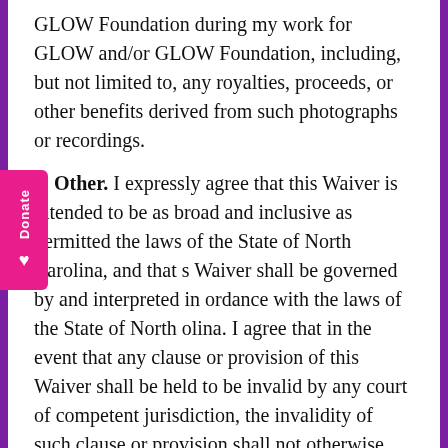GLOW Foundation during my work for GLOW and/or GLOW Foundation, including, but not limited to, any royalties, proceeds, or other benefits derived from such photographs or recordings.
6. Other. I expressly agree that this Waiver is intended to be as broad and inclusive as permitted the laws of the State of North Carolina, and that s Waiver shall be governed by and interpreted in ordance with the laws of the State of North olina. I agree that in the event that any clause or provision of this Waiver shall be held to be invalid by any court of competent jurisdiction, the invalidity of such clause or provision shall not otherwise affect the remaining provisions of this Release, which shall continue to be enforceable.
Name: